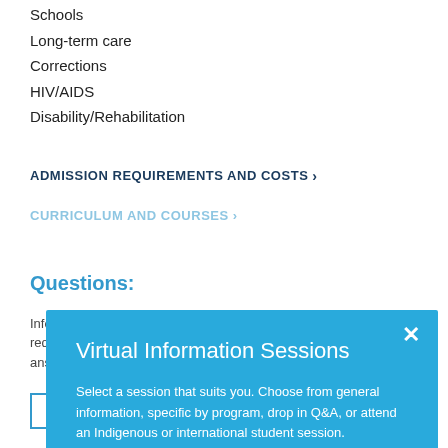Schools
Long-term care
Corrections
HIV/AIDS
Disability/Rehabilitation
ADMISSION REQUIREMENTS AND COSTS ›
CURRICULUM AND COURSES ›
Questions:
Information about program offerings, admission requirements and the application process can be answered by an admissions and recruitment specialist.
[Figure (screenshot): A modal popup overlay with blue background titled 'Virtual Information Sessions'. Contains body text: 'Select a session that suits you. Choose from general information, specific by program, drop in Q&A, or attend an Indigenous or international student session.' Has a white 'Sign-up' button and an X close button in the top right corner.]
CONTACT US